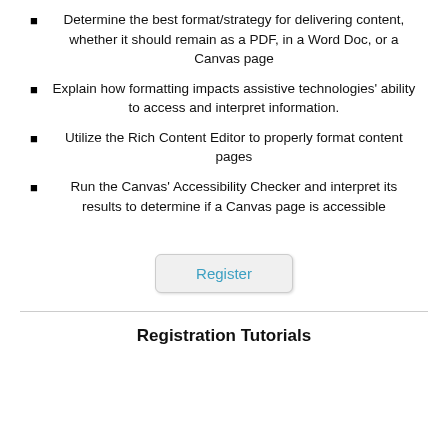Determine the best format/strategy for delivering content, whether it should remain as a PDF, in a Word Doc, or a Canvas page
Explain how formatting impacts assistive technologies' ability to access and interpret information.
Utilize the Rich Content Editor to properly format content pages
Run the Canvas' Accessibility Checker and interpret its results to determine if a Canvas page is accessible
[Figure (other): Register button - a rounded rectangle button with the text 'Register' in blue]
Registration Tutorials